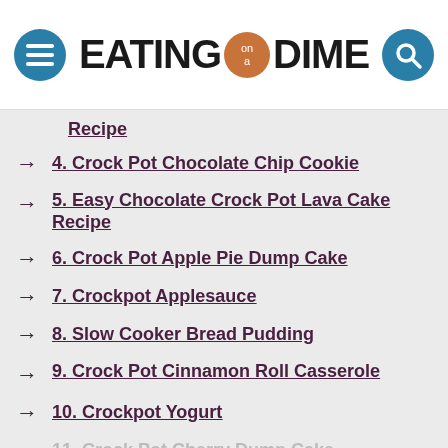EATING on a DIME
Recipe (partial item 3 continued)
4. Crock Pot Chocolate Chip Cookie
5. Easy Chocolate Crock Pot Lava Cake Recipe
6. Crock Pot Apple Pie Dump Cake
7. Crockpot Applesauce
8. Slow Cooker Bread Pudding
9. Crock Pot Cinnamon Roll Casserole
10. Crockpot Yogurt
11. Crock Pot Cherry Dump Cake